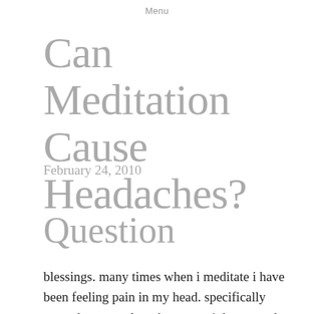Menu
Can Meditation Cause Headaches?
February 24, 2010
Question
blessings. many times when i meditate i have been feeling pain in my head. specifically around my temples. above my right eye and sometimes